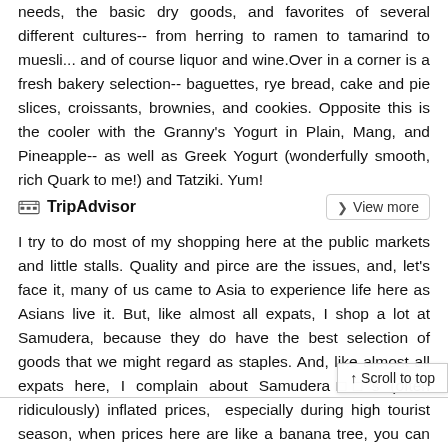needs, the basic dry goods, and favorites of several different cultures-- from herring to ramen to tamarind to muesli... and of course liquor and wine.Over in a corner is a fresh bakery selection-- baguettes, rye bread, cake and pie slices, croissants, brownies, and cookies. Opposite this is the cooler with the Granny's Yogurt in Plain, Mang, and Pineapple-- as well as Greek Yogurt (wonderfully smooth, rich Quark to me!) and Tatziki. Yum!
TripAdvisor   View more
I try to do most of my shopping here at the public markets and little stalls. Quality and pirce are the issues, and, let's face it, many of us came to Asia to experience life here as Asians live it. But, like almost all expats, I shop a lot at Samudera, because they do have the best selection of goods that we might regard as staples. And, like almost all expats here, I complain about Samudera's (often ridiculously) inflated prices, especially during high tourist season, when prices here are like a banana tree, you can watch them rise as you stand there. But, if you don't like prices, you can simply choose not to shop there or to buy, so that is not the issue I want to discuss here. There are two things that annoy or anger me. The first is, the policy of the